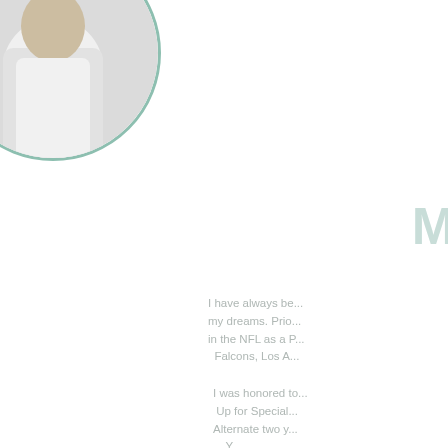[Figure (photo): Circular cropped portrait photo of a person wearing white clothing with a badge/lanyard, shown from chest up, with a teal/green circular border]
M
I have always be... my dreams. Prio... in the NFL as a P... Falcons, Los A...
I was honored to... Up for Special... Alternate two y... Y...